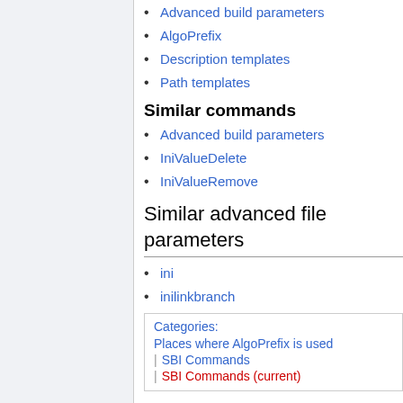Advanced build parameters
AlgoPrefix
Description templates
Path templates
Similar commands
Advanced build parameters
IniValueDelete
IniValueRemove
Similar advanced file parameters
ini
inilinkbranch
Categories: Places where AlgoPrefix is used | SBI Commands | SBI Commands (current)